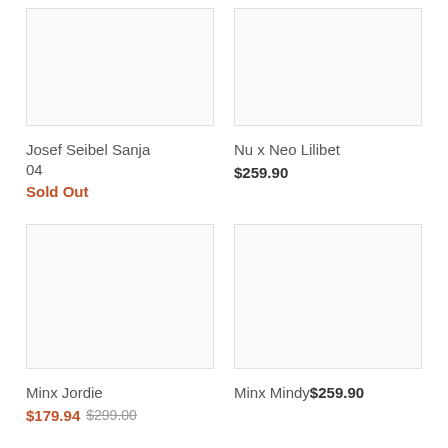[Figure (photo): Product image placeholder for Josef Seibel Sanja 04]
Josef Seibel Sanja 04
Sold Out
[Figure (photo): Product image placeholder for Nu x Neo Lilibet]
Nu x Neo Lilibet
$259.90
[Figure (photo): Product image placeholder for Minx Jordie]
Minx Jordie
$179.94 $299.00
[Figure (photo): Product image placeholder for Minx Mindy]
Minx Mindy $259.90